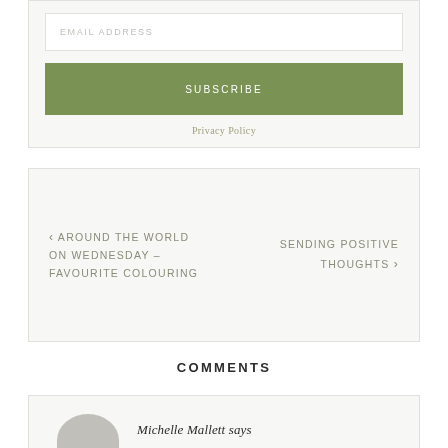EMAIL ADDRESS
SUBSCRIBE
Privacy Policy
‹ AROUND THE WORLD ON WEDNESDAY – FAVOURITE COLOURING
SENDING POSITIVE THOUGHTS ›
COMMENTS
Michelle Mallett says